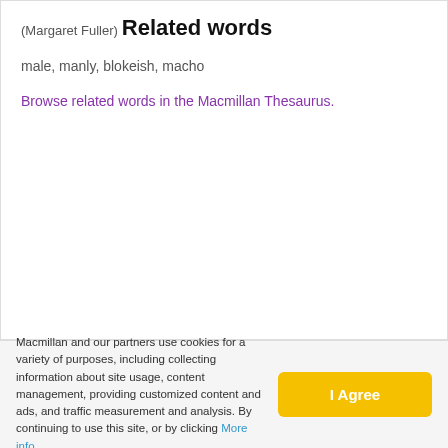(Margaret Fuller)
Related words
male, manly, blokeish, macho
Browse related words in the Macmillan Thesaurus.
Macmillan and our partners use cookies for a variety of purposes, including collecting information about site usage, content management, providing customized content and ads, and traffic measurement and analysis. By continuing to use this site, or by clicking More info  I Agree